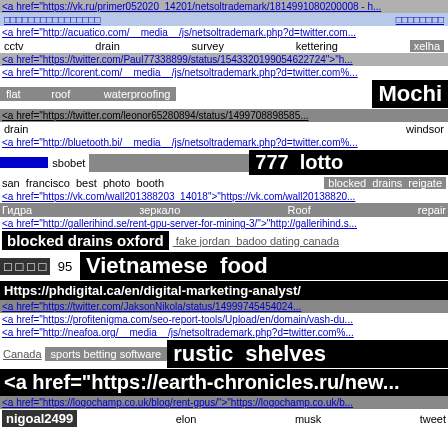<a href="https://vk.ru/primer052020_14201/netsoltrademark/1814991080200008 - ...
□□□□□□□□□□□□□□□□    □□□□□□□□
<a href="http://acuatico.com/__media__/js/netsoltrademark.php?d=twitter.com...
cctv    drain    survey    kettering    xelha
<a href="https://twitter.com/Paul77338899/status/1543320199054622724">"h...
<a href="http://lcorent.com/__media__/js/netsoltrademark.php?d=twitter.com%...
flat    roof    waterproofing    Mochi
<a href="https://twitter.com/leonor65280894/status/1499708898585...
drain    windsor
<a href="http://bluetooth.bi/__media__/js/netsoltrademark.php?d=twitter.com%...
□□□□□□□  sbobet  [gray block]  777 lotto
san francisco best photo booth    blocked drains reigate
<a href="https://vk.com/wall201388203_14018">"https://vk.com/wall20138820...
Гидра    зеркало    Roof    repair
<a href="http://gallerihind.se/rent-gpu-server-for-mining-3/">"http://gallerihind.s...
blocked drains oxford    fake jordan    badoo dating canada
□ □ □ □    95    Vietnamese food
Https://phdigital.ca/en/digital-marketing-analyst/
<a href="https://twitter.com/JaksonNikola/status/14999745454024...
<a href="https://profitenigma.com/seo-report-tools/Upload/en/domain/vash-du...
<a href="http://neafoa.org/__media__/js/netsoltrademark.php?d=twitter.com%...
Canada   sports betting software   rustic shelves
<a href="https://earth-chronicles.ru/new...
<a href="https://logochamp.co.uk/blog/rent-gpus/">"https://logochamp.co.uk/b...
nigoal2499    elon    musk    tweet